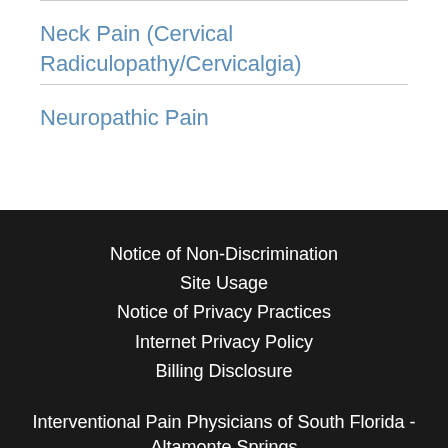Neck Pain (Cervical Radiculopathy/Cervicalgia)
Neuropathic Pain
Notice of Non-Discrimination
Site Usage
Notice of Privacy Practices
Internet Privacy Policy
Billing Disclosure
Interventional Pain Physicians of South Florida - Altamonte Springs